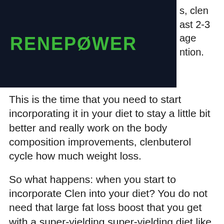RENEPOWER
This is the time that you need to start incorporating it in your diet to stay a little bit better and really work on the body composition improvements, clenbuterol cycle how much weight loss.
So what happens: when you start to incorporate Clen into your diet? You do not need that large fat loss boost that you get with a super-yielding super-yielding diet like the Atkins diet because there is no Clen in it in that regard. And as the name says, Clen can actually give your metabolism a boost, best time to take clenbuterol for weight loss. You will be surprised how many people are using a Clen diet for weight loss or are adding it to their workouts for a similar weight loss, when actually there is not much